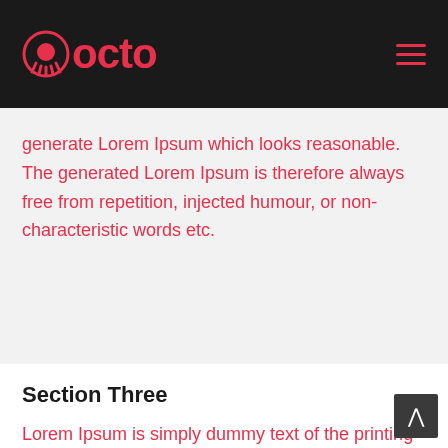octo
generate Lorem Ipsum which looks reasonable. The generated Lorem Ipsum is therefore always free from repetition, injected humour, or non-characteristic words etc.
Section Three
Lorem Ipsum is simply dummy text of the printing and typesetting industry. Lorem Ipsum has been the